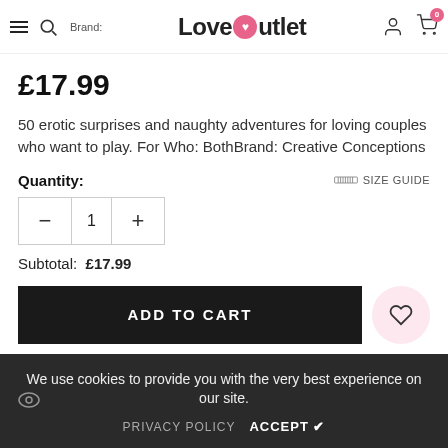LoveOutlet — navigation header with logo, search, user, and cart icons
£17.99
50 erotic surprises and naughty adventures for loving couples who want to play. For Who: BothBrand: Creative Conceptions
Quantity:    SIZE GUIDE
Subtotal:  £17.99
ADD TO CART
We use cookies to provide you with the very best experience on our site.
PRIVACY POLICY   ACCEPT ✔